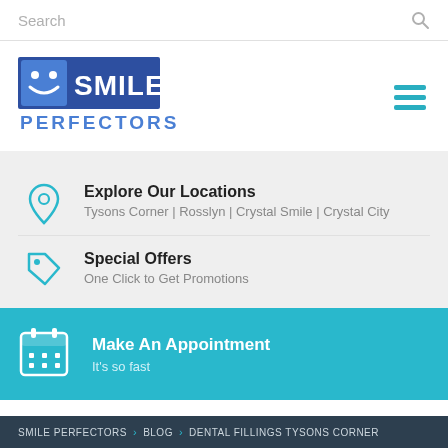Search
[Figure (logo): Smile Perfectors logo with smiley face icon in blue square and text PERFECTORS below]
Explore Our Locations
Tysons Corner | Rosslyn | Crystal Smile | Crystal City
Special Offers
One Click to Get Promotions
Make An Appointment
It's so fast
SMILE PERFECTORS > BLOG > DENTAL FILLINGS TYSONS CORNER